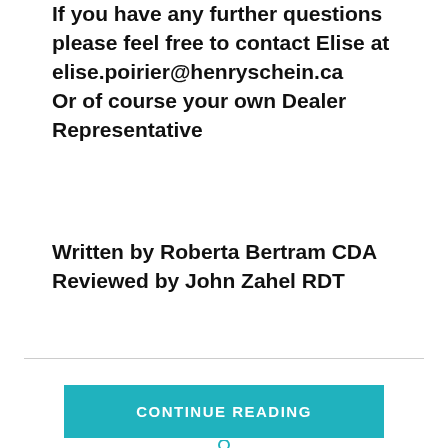If you have any further questions please feel free to contact Elise at elise.poirier@henryschein.ca Or of course your own Dealer Representative
Written by Roberta Bertram CDA
Reviewed by John Zahel RDT
CONTINUE READING